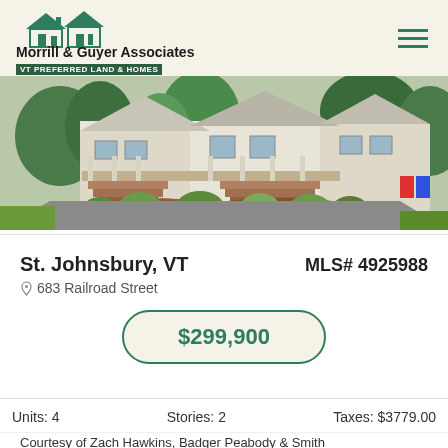Morrill & Guyer Associates — VT PREFERRED LAND & HOMES
[Figure (photo): Exterior photo of a multi-unit house at 683 Railroad Street, St. Johnsbury, VT. Shows front porch with stairs, landscaping with mulch and plants, and driveway.]
St. Johnsbury, VT
MLS# 4925988
683 Railroad Street
$299,900
Units: 4   Stories: 2   Taxes: $3779.00
Courtesy of Zach Hawkins, Badger Peabody & Smith